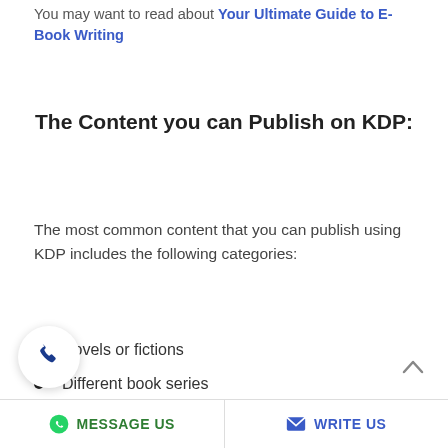You may want to read about Your Ultimate Guide to E-Book Writing
The Content you can Publish on KDP:
The most common content that you can publish using KDP includes the following categories:
Novels or fictions
Different book series
Children books and comics
MESSAGE US   WRITE US